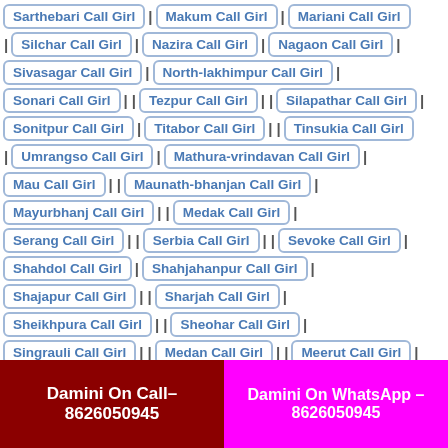Sarthebari Call Girl | Makum Call Girl | Mariani Call Girl
| Silchar Call Girl | Nazira Call Girl | Nagaon Call Girl |
Sivasagar Call Girl | North-lakhimpur Call Girl |
Sonari Call Girl | | Tezpur Call Girl | | Silapathar Call Girl |
Sonitpur Call Girl | Titabor Call Girl | | Tinsukia Call Girl
| Umrangso Call Girl | Mathura-vrindavan Call Girl |
Mau Call Girl | | Maunath-bhanjan Call Girl |
Mayurbhanj Call Girl | | Medak Call Girl |
Serang Call Girl | | Serbia Call Girl | | Sevoke Call Girl |
Shahdol Call Girl | Shahjahanpur Call Girl |
Shajapur Call Girl | | Sharjah Call Girl |
Sheikhpura Call Girl | | Sheohar Call Girl |
Singrauli Call Girl | | Medan Call Girl | | Meerut Call Girl |
Damini On Call– 8626050945
Damini On WhatsApp – 8626050945